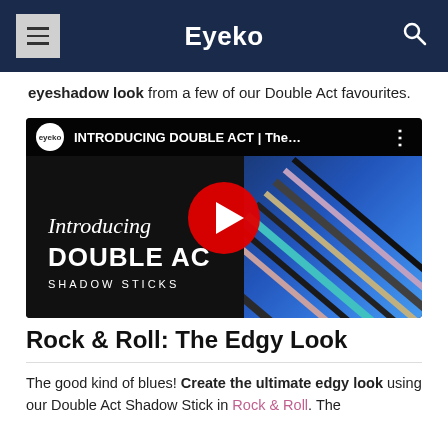Eyeko
eyeshadow look from a few of our Double Act favourites.
[Figure (screenshot): YouTube video thumbnail for 'INTRODUCING DOUBLE ACT | The...' by Eyeko, showing shadow sticks pencils on a blue background with a red play button overlay. Text reads 'Introducing DOUBLE AC[T] SHADOW STICKS']
Rock & Roll: The Edgy Look
The good kind of blues! Create the ultimate edgy look using our Double Act Shadow Stick in Rock & Roll. The